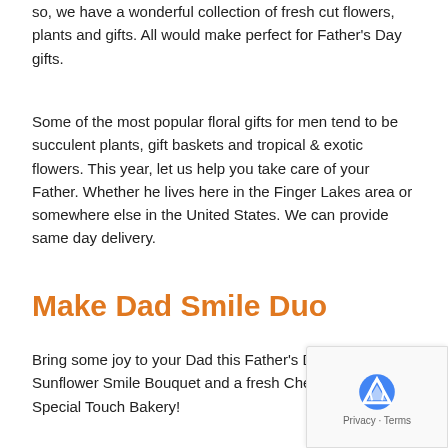so, we have a wonderful collection of fresh cut flowers, plants and gifts. All would make perfect for Father's Day gifts.
Some of the most popular floral gifts for men tend to be succulent plants, gift baskets and tropical & exotic flowers. This year, let us help you take care of your Father. Whether he lives here in the Finger Lakes area or somewhere else in the United States. We can provide same day delivery.
Make Dad Smile Duo
Bring some joy to your Dad this Father's Day with our Sunflower Smile Bouquet and a fresh Cherry Pie from Special Touch Bakery!